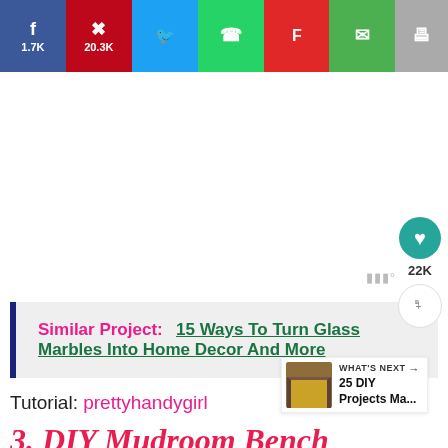[Figure (infographic): Social share bar with Facebook (1.7K), Pinterest (20.3K), Twitter, WhatsApp, Flipboard, Email, and Print buttons]
[Figure (other): Teads advertisement watermark area with bar chart icon]
Similar Project:  15 Ways To Turn Glass Marbles Into Home Decor And More
Tutorial: prettyhandygirl
3. DIY Mudroom Bench
[Figure (photo): Bottom portion of a golden/tan colored wooden bench photo]
[Figure (infographic): WHAT'S NEXT: 25 DIY Projects Ma... overlay with thumbnail]